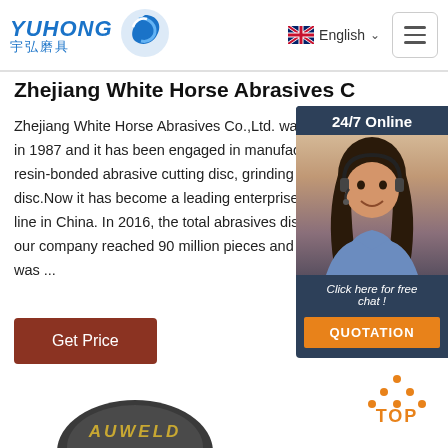YUHONG 宇弘磨具 — English menu
Zhejiang White Horse Abrasives Co...
Zhejiang White Horse Abrasives Co.,Ltd. was in 1987 and it has been engaged in manufacturing resin-bonded abrasive cutting disc, grinding disc.Now it has become a leading enterprise line in China. In 2016, the total abrasives disc our company reached 90 million pieces and was ...
[Figure (photo): Customer service representative with headset, 24/7 Online chat widget with QUOTATION button]
[Figure (other): TOP navigation button with orange dots forming an upward arrow]
[Figure (other): AUWELD product circular badge/disc at bottom of page]